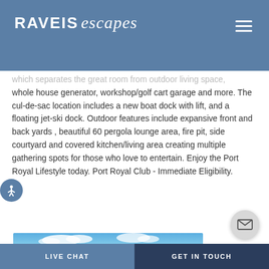RAVEIS escapes
which separates the great room from outdoor living space, whole house generator, workshop/golf cart garage and more. The cul-de-sac location includes a new boat dock with lift, and a floating jet-ski dock. Outdoor features include expansive front and back yards , beautiful 60 pergola lounge area, fire pit, side courtyard and covered kitchen/living area creating multiple gathering spots for those who love to entertain. Enjoy the Port Royal Lifestyle today. Port Royal Club - Immediate Eligibility.
[Figure (photo): Aerial coastal view showing waterway, beach, and waterfront homes with blue sky and clouds]
LIVE CHAT | GET IN TOUCH